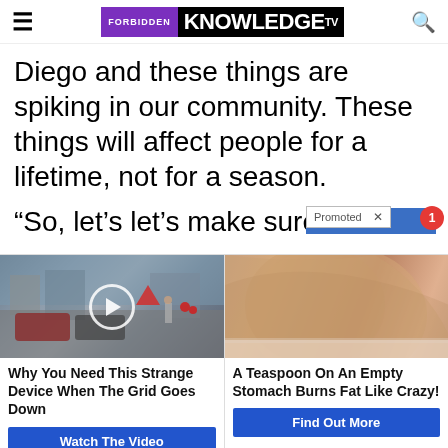FORBIDDEN KNOWLEDGE TV
Diego and these things are spiking in our community. These things will affect people for a lifetime, not for a season.
“So, let’s let’s make sure w
[Figure (screenshot): Promoted ad overlay with blue bar and notification badge]
[Figure (photo): Street scene with cars and pedestrians, play button overlay]
[Figure (photo): Close-up photo of a person's midsection/stomach area]
Why You Need This Strange Device When The Grid Goes Down
A Teaspoon On An Empty Stomach Burns Fat Like Crazy!
Watch The Video
Find Out More